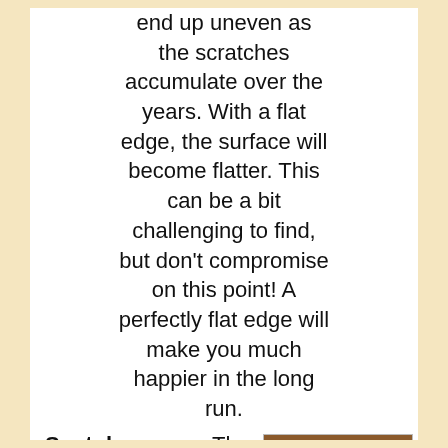end up uneven as the scratches accumulate over the years. With a flat edge, the surface will become flatter. This can be a bit challenging to find, but don't compromise on this point! A perfectly flat edge will make you much happier in the long run.
Spatula corner: The rounded corners are important because the inside edges of
[Figure (photo): Close-up photo of a spatula corner showing a brown wooden top surface and white/grey sides meeting at a right angle corner]